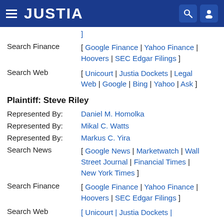JUSTIA
Search Finance [ Google Finance | Yahoo Finance | Hoovers | SEC Edgar Filings ]
Search Web [ Unicourt | Justia Dockets | Legal Web | Google | Bing | Yahoo | Ask ]
Plaintiff: Steve Riley
Represented By: Daniel M. Homolka
Represented By: Mikal C. Watts
Represented By: Markus C. Yira
Search News [ Google News | Marketwatch | Wall Street Journal | Financial Times | New York Times ]
Search Finance [ Google Finance | Yahoo Finance | Hoovers | SEC Edgar Filings ]
Search Web [ Unicourt | Justia Dockets | ...